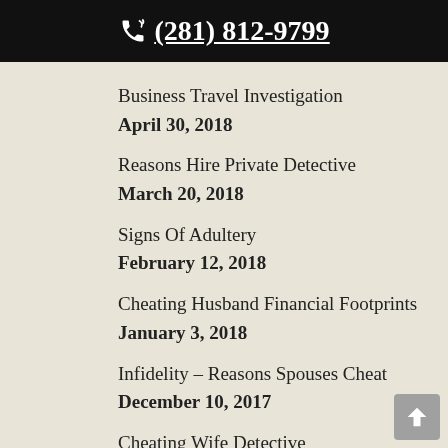☎ (281) 812-9799
Business Travel Investigation
April 30, 2018
Reasons Hire Private Detective
March 20, 2018
Signs Of Adultery
February 12, 2018
Cheating Husband Financial Footprints
January 3, 2018
Infidelity – Reasons Spouses Cheat
December 10, 2017
Cheating Wife Detective
November 5, 2017